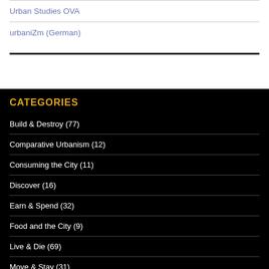Urban Studies OVA
urbaniZm (German)
CATEGORIES
Build & Destroy (77)
Comparative Urbanism (12)
Consuming the City (11)
Discover (16)
Earn & Spend (32)
Food and the City (9)
Live & Die (69)
Move & Stay (31)